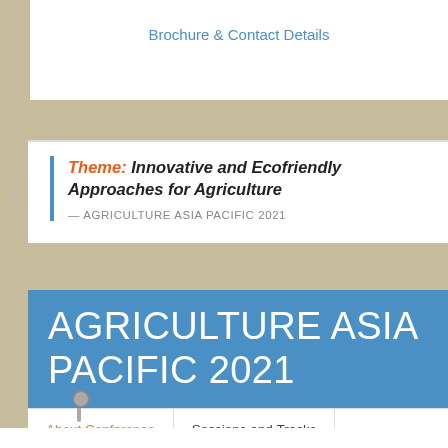Brochure & Contact Details
Theme: Innovative and Ecofriendly Approaches for Agriculture
— AGRICULTURE ASIA PACIFIC 2021
AGRICULTURE ASIA PACIFIC 2021
About Conference
Sessions and Tracks
Market Analysis
Abstract Submission and Registrations